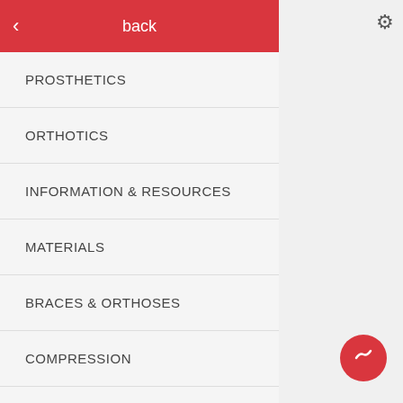back
PROSTHETICS
ORTHOTICS
INFORMATION & RESOURCES
MATERIALS
BRACES & ORTHOSES
COMPRESSION
DIAGNOSTIC & REAL TIME ULTRASOUND
EDUCATION & EVALUATION
[Figure (photo): A white medical/orthotic device product standing upright, partially visible on the right side of the screen]
PACK